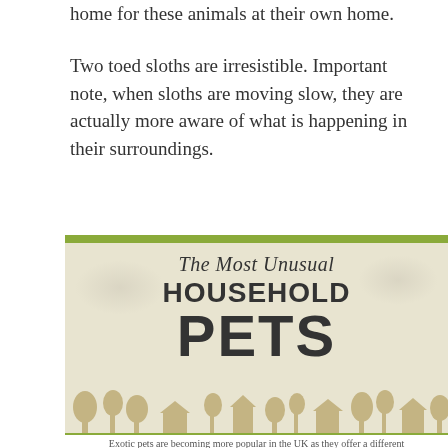home for these animals at their own home.
Two toed sloths are irresistible. Important note, when sloths are moving slow, they are actually more aware of what is happening in their surroundings.
[Figure (infographic): Infographic titled 'The Most Unusual HOUSEHOLD PETS' with a green header bar, beige/cream background, large bold serif typography for title, and silhouettes of trees and houses at the bottom.]
Exotic pets are becoming more popular in the UK as they offer a different